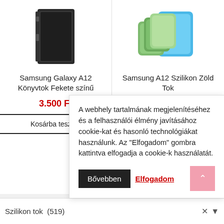[Figure (photo): Samsung Galaxy A12 dark/black book-style phone case product image]
Samsung Galaxy A12 Könyvtok Fekete színű
3.500 Ft
Kosárba teszem
[Figure (photo): Samsung A12 silicone green phone case product image with multiple green colored cases and phone]
Samsung A12 Szilikon Zöld Tok
3.500 Ft Bruttó
Kosárba teszem
A webhely tartalmának megjelenítéséhez és a felhasználói élmény javításához cookie-kat és hasonló technológiákat használunk. Az "Elfogadom" gombra kattintva elfogadja a cookie-k használatát.
Bővebben
Elfogadom
TE
Szilikon tok  (519)